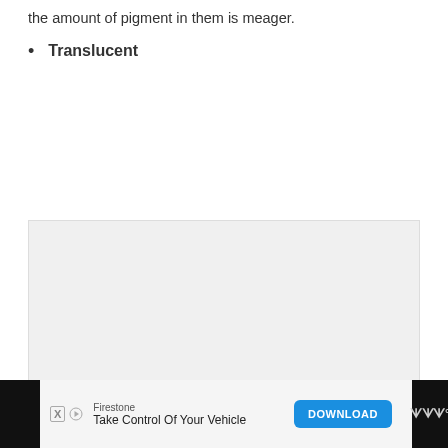the amount of pigment in them is meager.
Translucent
[Figure (photo): A large light gray/white image placeholder box, likely containing an illustration or photograph related to translucent materials.]
Firestone — Take Control Of Your Vehicle — DOWNLOAD